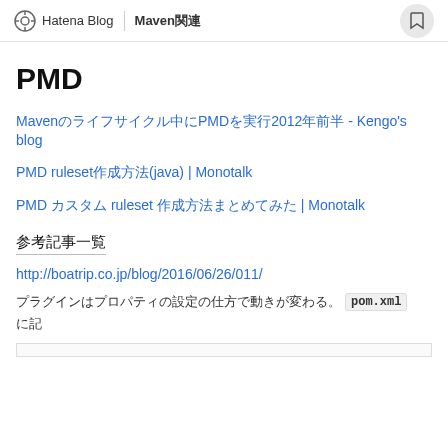Hatena Blog | Maven関連
PMD
Mavenのライフサイクル中にPMDを実行2012年前半 - Kengo's blog
PMD ruleset作成方法(java) | Monotalk
PMD カスタム ruleset 作成方法まとめてみた | Monotalk
参考記事一覧
http://boatrip.co.jp/blog/2016/06/26/011/
プラグインはプロパティの設定の仕方で動きが変わる。 pom.xml に記